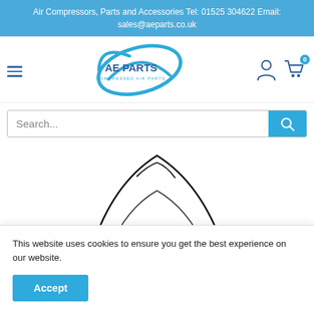Air Compressors, Parts and Accessories Tel: 01525 304622 Email: sales@aeparts.co.uk
[Figure (logo): AE Parts - Compressed Air Parts logo with circular swoosh design]
Search...
[Figure (photo): Partial view of an air compressor product image (black outline/line drawing on white background)]
This website uses cookies to ensure you get the best experience on our website.
Accept